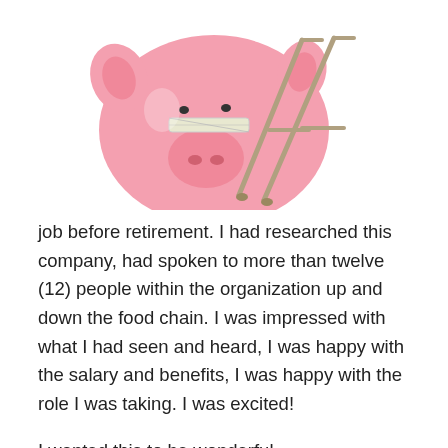[Figure (illustration): A pink piggy bank with bandages/tape on its face, leaning on metal crutches, on a white background. Only the lower portion of the pig and crutches is visible as the image is cropped at the top.]
job before retirement. I had researched this company, had spoken to more than twelve (12) people within the organization up and down the food chain. I was impressed with what I had seen and heard, I was happy with the salary and benefits, I was happy with the role I was taking. I was excited!
I wanted this to be wonderful.
Then reality hit, it hit hard and fast; it hit like a freight train and rolled over me, squashing me into the ground within the first two weeks. Honestly, I was left questioning my